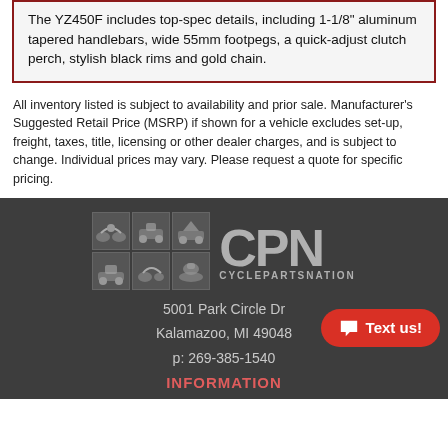The YZ450F includes top-spec details, including 1-1/8" aluminum tapered handlebars, wide 55mm footpegs, a quick-adjust clutch perch, stylish black rims and gold chain.
All inventory listed is subject to availability and prior sale. Manufacturer's Suggested Retail Price (MSRP) if shown for a vehicle excludes set-up, freight, taxes, title, licensing or other dealer charges, and is subject to change. Individual prices may vary. Please request a quote for specific pricing.
[Figure (logo): CyclePartsNation (CPN) logo with grid of 6 vehicle thumbnails on the left and 'CPN CYCLEPARTSNATION' text on the right, on dark background]
5001 Park Circle Dr
Kalamazoo, MI 49048
p: 269-385-1540
INFORMATION